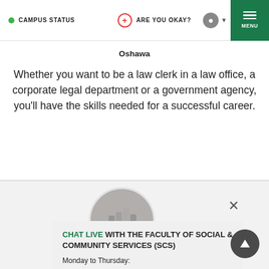CAMPUS STATUS | ARE YOU OKAY? | MENU
Oshawa
Whether you want to be a law clerk in a law office, a corporate legal department or a government agency, you'll have the skills needed for a successful career.
[Figure (photo): Circular photo thumbnail of a person or building, partially visible above a chat popup card]
CHAT LIVE WITH THE FACULTY OF SOCIAL & COMMUNITY SERVICES (SCS)
Monday to Thursday: 8:30 a.m. to 6 p.m.
Friday: 8:30 a.m. to 4:30 p.m.
Law Clerk Advanced (fast-track)
Ontario College Advanced Diploma
Oshawa